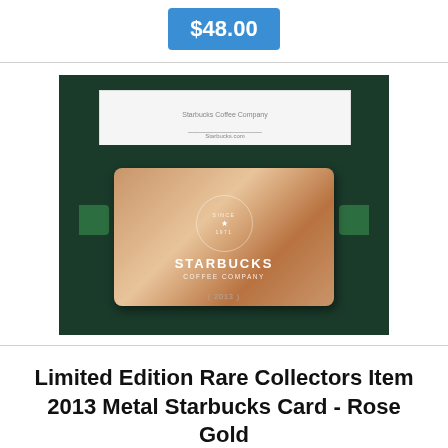$48.00
[Figure (photo): Photo of a 2013 Limited Edition Rose Gold Metal Starbucks Card in a dark green presentation box with a white paper insert]
Limited Edition Rare Collectors Item 2013 Metal Starbucks Card - Rose Gold